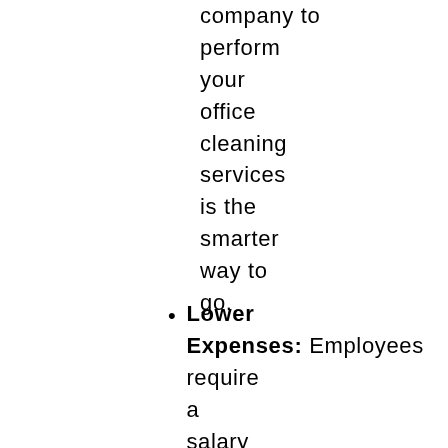company to perform your office cleaning services is the smarter way to go.
Lower Expenses: Employees require a salary and benefits, but you can avoid